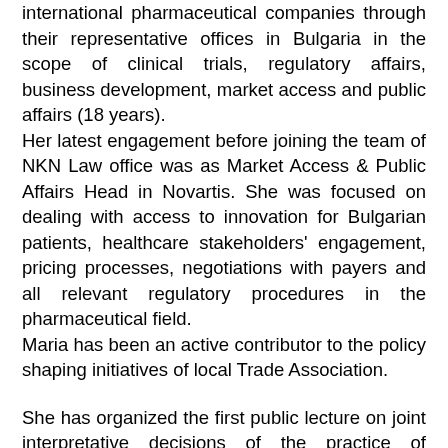international pharmaceutical companies through their representative offices in Bulgaria in the scope of clinical trials, regulatory affairs, business development, market access and public affairs (18 years). Her latest engagement before joining the team of NKN Law office was as Market Access & Public Affairs Head in Novartis. She was focused on dealing with access to innovation for Bulgarian patients, healthcare stakeholders' engagement, pricing processes, negotiations with payers and all relevant regulatory procedures in the pharmaceutical field. Maria has been an active contributor to the policy shaping initiatives of local Trade Association.
She has organized the first public lecture on joint interpretative decisions of the practice of Supreme Administrative Court and Supreme Court of Cassation, presented by the Chair of the Supreme Court of Cassation in front of the students at Law Faculty in Russe in 2015. She has been an active contributor in organizing